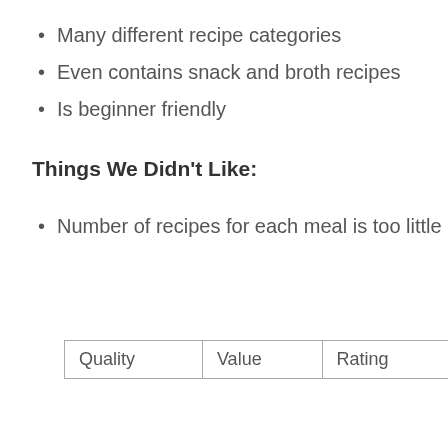Many different recipe categories
Even contains snack and broth recipes
Is beginner friendly
Things We Didn't Like:
Number of recipes for each meal is too little
| Quality | Value | Rating |
| --- | --- | --- |